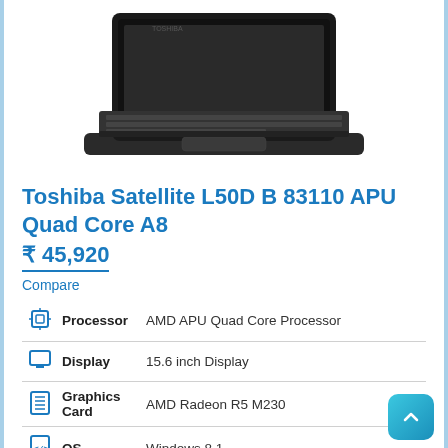[Figure (photo): Toshiba Satellite laptop computer open, viewed from slightly above, showing keyboard and dark screen bezel]
Toshiba Satellite L50D B 83110 APU Quad Core A8
₹ 45,920
Compare
| Icon | Spec | Value |
| --- | --- | --- |
| [processor icon] | Processor | AMD APU Quad Core Processor |
| [display icon] | Display | 15.6 inch Display |
| [graphics icon] | Graphics Card | AMD Radeon R5 M230 |
| [os icon] | OS | Windows 8.1 |